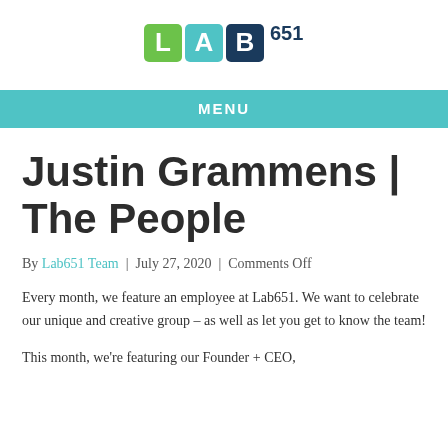[Figure (logo): LAB651 logo with green square L, teal square A, dark blue square B, and 651 text in dark blue]
MENU
Justin Grammens | The People
By Lab651 Team | July 27, 2020 | Comments Off
Every month, we feature an employee at Lab651. We want to celebrate our unique and creative group – as well as let you get to know the team!
This month, we're featuring our Founder + CEO,